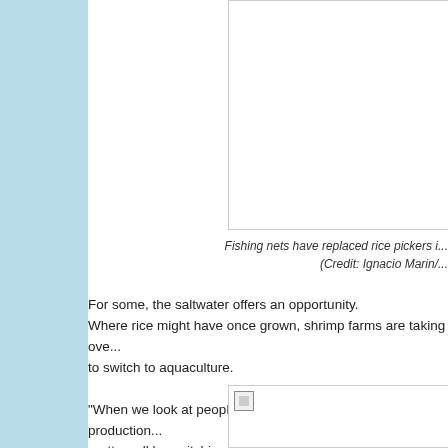[Figure (photo): Top image box - photo of fishing nets/rice fields (partially visible, cropped at top of page)]
Fishing nets have replaced rice pickers i... (Credit: Ignacio Marin/...
For some, the saltwater offers an opportunity. Where rice might have once grown, shrimp farms are taking ove... to switch to aquaculture.

"When we look at people converting from agricultural production... pretty well by switching to aquaculture," says Chen. "They seem pretty resilient. But, the ways they are being resilie... How sustainable will aquaculture be? If enough people convert... create new problems and distort the economy in ways people c...
[Figure (photo): Bottom image box - partially visible photo at bottom of page]